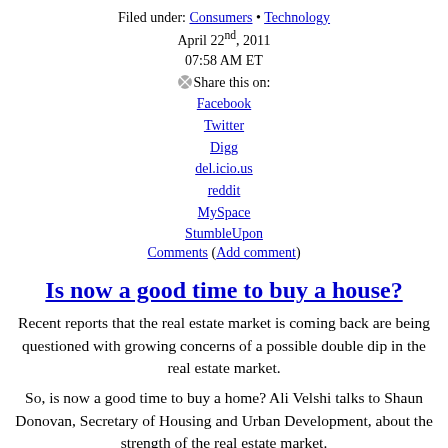Filed under: Consumers • Technology
April 22nd, 2011
07:58 AM ET
Share this on:
Facebook
Twitter
Digg
del.icio.us
reddit
MySpace
StumbleUpon
Comments (Add comment)
Is now a good time to buy a house?
Recent reports that the real estate market is coming back are being questioned with growing concerns of a possible double dip in the real estate market.
So, is now a good time to buy a home? Ali Velshi talks to Shaun Donovan, Secretary of Housing and Urban Development, about the strength of the real estate market.